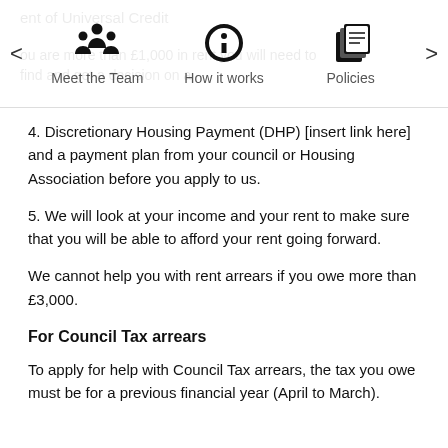[Figure (infographic): Navigation bar with three icons and labels: Meet the Team (people icon), How it works (gear icon), Policies (documents icon), with left and right arrows on either side]
4. Discretionary Housing Payment (DHP) [insert link here] and a payment plan from your council or Housing Association before you apply to us.
5. We will look at your income and your rent to make sure that you will be able to afford your rent going forward.
We cannot help you with rent arrears if you owe more than £3,000.
For Council Tax arrears
To apply for help with Council Tax arrears, the tax you owe must be for a previous financial year (April to March).